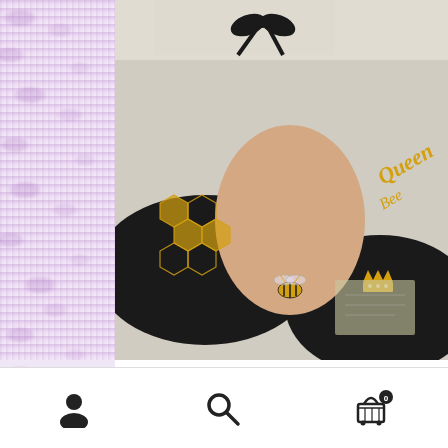[Figure (photo): A black Peter Pan collar with gold embroidery featuring honeycomb pattern, a bee, a crown, and 'Queen Bee' script text. The collar has a black ribbon bow at the top. It is displayed on a light background with some books and papers.]
Collar Queen Bee in the hoop machine embroidery designs
$7.00